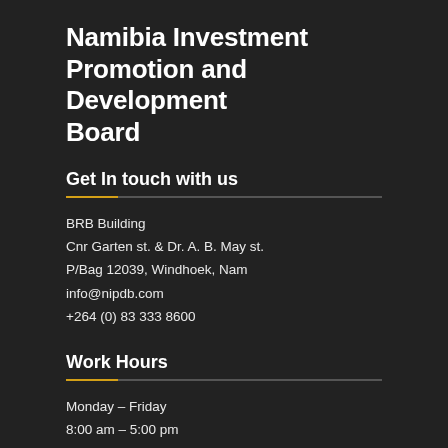Namibia Investment Promotion and Development Board
Get In touch with us
BRB Building
Cnr Garten st. & Dr. A. B. May st.
P/Bag 12039, Windhoek, Nam
info@nipdb.com
+264 (0) 83 333 8600
Work Hours
Monday – Friday
8:00 am – 5:00 pm